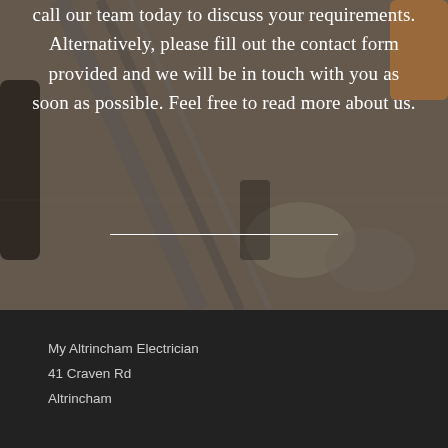[Figure (photo): Background photo of carpentry and electrical tools (screwdrivers, drill bits, chisels) on a wooden surface, overlaid with a dark semi-transparent tint]
call our team today to discuss your requirements. Alternatively, please fill out the contact form provided and we will be in touch with you as soon as possible. Feel free to read more about us.
My Altrincham Electrician
41 Craven Rd
Altrincham